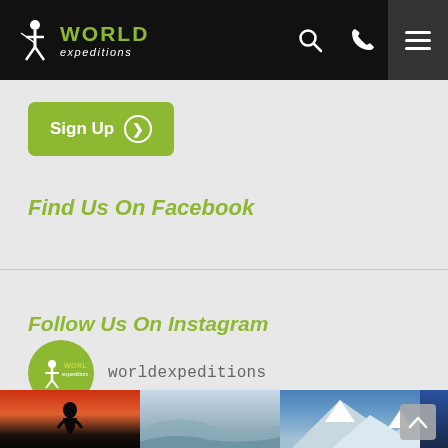World Expeditions — navigation header with logo, search, phone, and menu icons
Sign Up
Find Us On Facebook
Follow Us On Instagram
worldexpeditions
[Figure (photo): Three Instagram photos in a strip: a person silhouetted against a sunset/orange sky, a misty mountain landscape, and a snowy mountain peak under blue sky.]